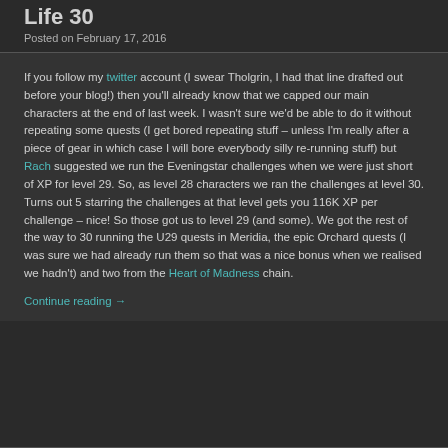Life 30
Posted on February 17, 2016
If you follow my twitter account (I swear Tholgrin, I had that line drafted out before your blog!) then you'll already know that we capped our main characters at the end of last week. I wasn't sure we'd be able to do it without repeating some quests (I get bored repeating stuff – unless I'm really after a piece of gear in which case I will bore everybody silly re-running stuff) but Rach suggested we run the Eveningstar challenges when we were just short of XP for level 29. So, as level 28 characters we ran the challenges at level 30. Turns out 5 starring the challenges at that level gets you 116K XP per challenge – nice! So those got us to level 29 (and some). We got the rest of the way to 30 running the U29 quests in Meridia, the epic Orchard quests (I was sure we had already run them so that was a nice bonus when we realised we hadn't) and two from the Heart of Madness chain.
Continue reading →